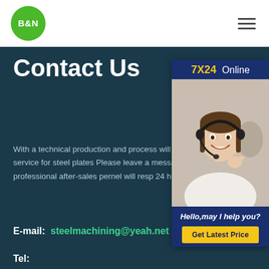[Figure (logo): B&N logo in green circle]
[Figure (illustration): Hamburger menu icon with 3 horizontal lines]
Contact Us
[Figure (infographic): 7X24 Online widget with customer service representative photo, 'Hello,may I help you?' text, and Get Latest Price button]
With a technical production and process will supply deep service for steel plates Please leave a message about you rec professional after-sales pernel will resp 24 hours.
E-mail:  steelmachining@yeah.net
Tel: